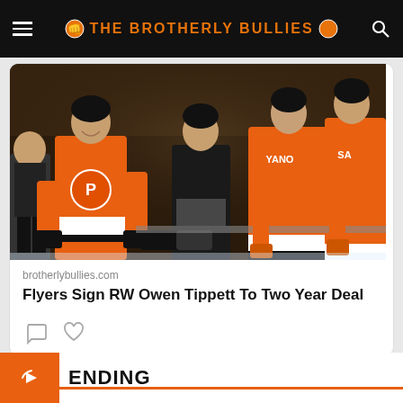THE BROTHERLY BULLIES
[Figure (photo): Philadelphia Flyers hockey players in orange jerseys celebrating at the bench, high-fiving teammates. Player numbers visible including 3. Players names YANO and SA partially visible on jerseys.]
brotherlybullies.com
Flyers Sign RW Owen Tippett To Two Year Deal
ADVERTISEMENT
TRENDING